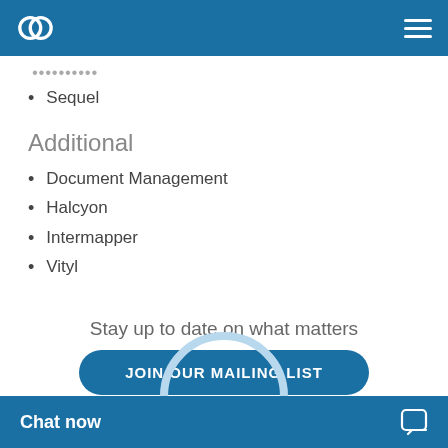Sequel
Additional
Document Management
Halcyon
Intermapper
Vityl
Stay up to date on what matters
JOIN OUR MAILING LIST
Chat now